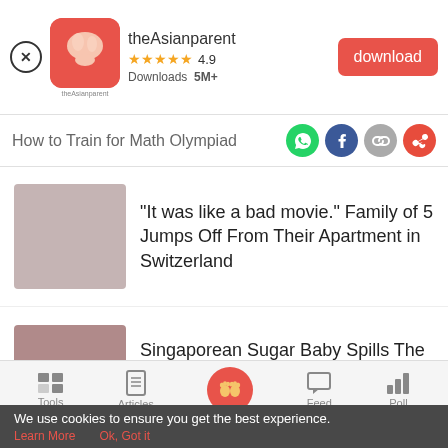[Figure (screenshot): theAsianparent app banner with logo, rating 4.9 stars, 5M+ downloads, and red download button]
How to Train for Math Olympiad
[Figure (illustration): Social share icons: WhatsApp, Facebook, link copy, share]
[Figure (photo): Thumbnail image placeholder (grey-pink) for article about family jumping off apartment]
"It was like a bad movie." Family of 5 Jumps Off From Their Apartment in Switzerland
[Figure (photo): Thumbnail image placeholder (mauve) for article about Singaporean Sugar Baby]
Singaporean Sugar Baby Spills The Beans On What Life Is Like With A Sugar Daddy
[Figure (screenshot): Bottom navigation bar with Tools, Articles, Home (pink circle with baby feet), Feed, Poll icons]
We use cookies to ensure you get the best experience.
Learn More   Ok, Got it